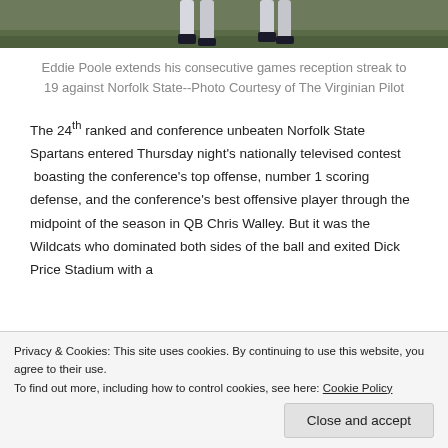[Figure (photo): Bottom portion of a sports photo showing athletes' legs on a grass field]
Eddie Poole extends his consecutive games reception streak to 19 against Norfolk State--Photo Courtesy of The Virginian Pilot
The 24th ranked and conference unbeaten Norfolk State Spartans entered Thursday night's nationally televised contest boasting the conference's top offense, number 1 scoring defense, and the conference's best offensive player through the midpoint of the season in QB Chris Walley. But it was the Wildcats who dominated both sides of the ball and exited Dick Price Stadium with a
Privacy & Cookies: This site uses cookies. By continuing to use this website, you agree to their use.
To find out more, including how to control cookies, see here: Cookie Policy
Close and accept